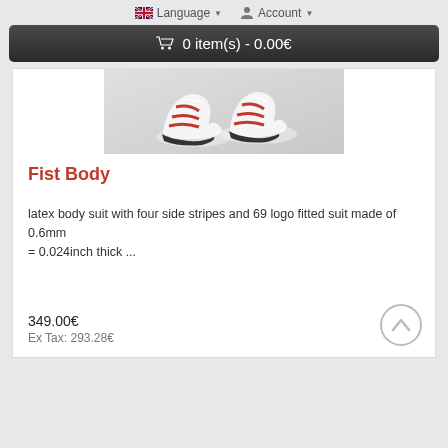Language ▾   Account ▾
🛒 0 item(s) - 0.00€
[Figure (photo): Product photo showing red and white sneakers/athletic shoes from behind, worn by a person, against a light grey background.]
Fist Body
latex body suit with four side stripes and 69 logo fitted suit made of 0.6mm = 0.024inch thick ...
349.00€
Ex Tax: 293.28€